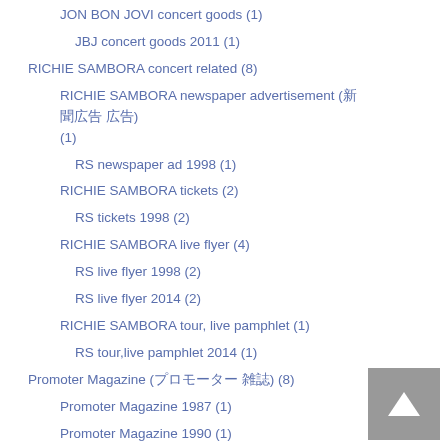JON BON JOVI concert goods (1)
JBJ concert goods 2011 (1)
RICHIE SAMBORA concert related (8)
RICHIE SAMBORA newspaper advertisement (新聞広告 広告) (1)
RS newspaper ad 1998 (1)
RICHIE SAMBORA tickets (2)
RS tickets 1998 (2)
RICHIE SAMBORA live flyer (4)
RS live flyer 1998 (2)
RS live flyer 2014 (2)
RICHIE SAMBORA tour, live pamphlet (1)
RS tour,live pamphlet 2014 (1)
Promoter Magazine (プロモーター 雑誌) (8)
Promoter Magazine 1987 (1)
Promoter Magazine 1990 (1)
Promoter Magazine 1995 (1)